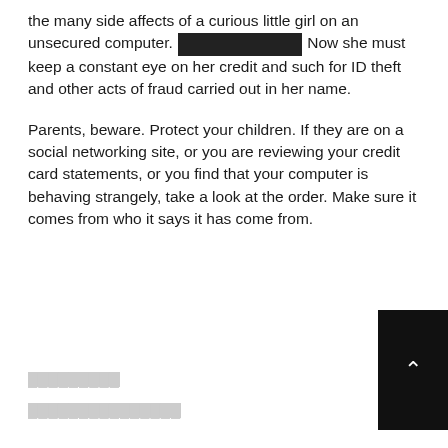the many side affects of a curious little girl on an unsecured computer. [REDACTED] Now she must keep a constant eye on her credit and such for ID theft and other acts of fraud carried out in her name.
Parents, beware. Protect your children. If they are on a social networking site, or you are reviewing your credit card statements, or you find that your computer is behaving strangely, take a look at the order. Make sure it comes from who it says it has come from.
[REDACTED LINK 1]
[REDACTED LINK 2]